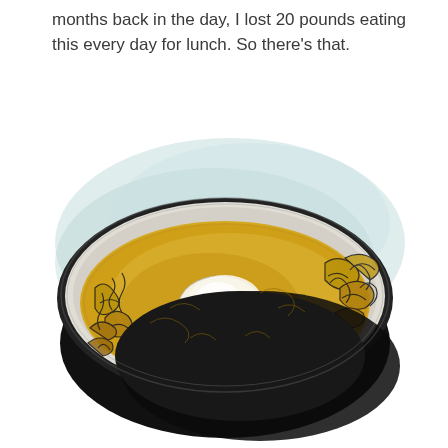months back in the day, I lost 20 pounds eating this every day for lunch. So there's that.
[Figure (illustration): Illustration of a bowl of soup or noodle dish viewed from above, rendered in ink and watercolor style with yellow/golden broth, noodles, and a white egg or poached element in the center, with a teal/blue watercolor wash behind the bowl and a dark/black bowl outline.]